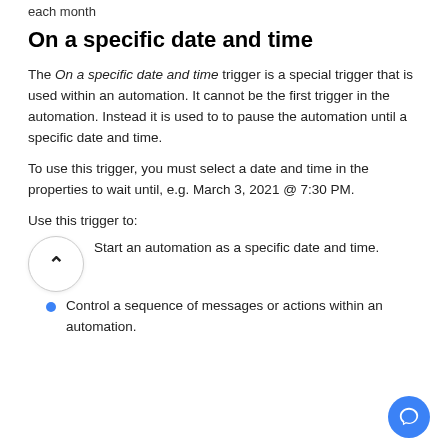each month
On a specific date and time
The On a specific date and time trigger is a special trigger that is used within an automation. It cannot be the first trigger in the automation. Instead it is used to to pause the automation until a specific date and time.
To use this trigger, you must select a date and time in the properties to wait until, e.g. March 3, 2021 @ 7:30 PM.
Use this trigger to:
Start an automation as a specific date and time.
Control a sequence of messages or actions within an automation.